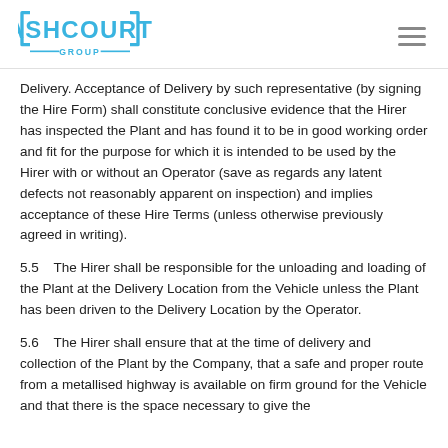Ashcourt Group logo and navigation
Delivery. Acceptance of Delivery by such representative (by signing the Hire Form) shall constitute conclusive evidence that the Hirer has inspected the Plant and has found it to be in good working order and fit for the purpose for which it is intended to be used by the Hirer with or without an Operator (save as regards any latent defects not reasonably apparent on inspection) and implies acceptance of these Hire Terms (unless otherwise previously agreed in writing).
5.5    The Hirer shall be responsible for the unloading and loading of the Plant at the Delivery Location from the Vehicle unless the Plant has been driven to the Delivery Location by the Operator.
5.6    The Hirer shall ensure that at the time of delivery and collection of the Plant by the Company, that a safe and proper route from a metallised highway is available on firm ground for the Vehicle and that there is the space necessary to give the